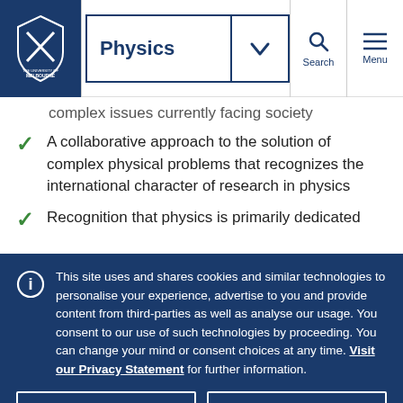[Figure (screenshot): University of Melbourne website header with Physics dropdown, Search and Menu icons]
complex issues currently facing society
A collaborative approach to the solution of complex physical problems that recognizes the international character of research in physics
Recognition that physics is primarily dedicated
This site uses and shares cookies and similar technologies to personalise your experience, advertise to you and provide content from third-parties as well as analyse our usage. You consent to our use of such technologies by proceeding. You can change your mind or consent choices at any time. Visit our Privacy Statement for further information.